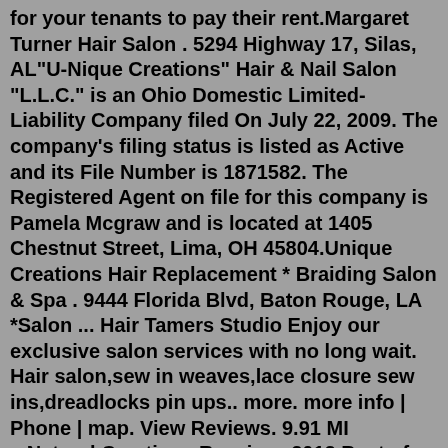for your tenants to pay their rent.Margaret Turner Hair Salon . 5294 Highway 17, Silas, AL"U-Nique Creations" Hair & Nail Salon "L.L.C." is an Ohio Domestic Limited-Liability Company filed On July 22, 2009. The company's filing status is listed as Active and its File Number is 1871582. The Registered Agent on file for this company is Pamela Mcgraw and is located at 1405 Chestnut Street, Lima, OH 45804.Unique Creations Hair Replacement * Braiding Salon & Spa . 9444 Florida Blvd, Baton Rouge, LA *Salon ... Hair Tamers Studio Enjoy our exclusive salon services with no long wait. Hair salon,sew in weaves,lace closure sew ins,dreadlocks pin ups.. more. more info | Phone | map. View Reviews. 9.91 MI ...Natural Creations Receives 2012 Best of Atlanta Award. ATLANTA July 26, 2012 -- Natural Creations has been selected for the 2012 Best of Atlanta Award in the Hair Coloring category by the Atlanta Award Program. Each year, the Atlanta Award Program identifies companies that we believe have achieved exceptional marketing success in their local... Each